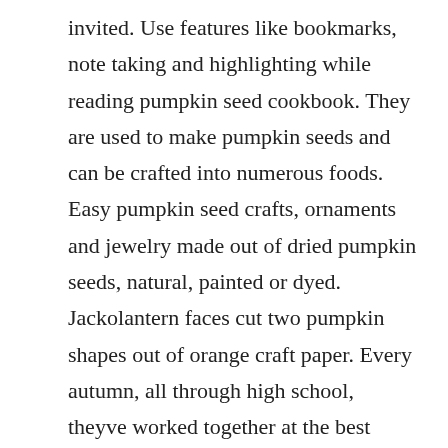invited. Use features like bookmarks, note taking and highlighting while reading pumpkin seed cookbook. They are used to make pumpkin seeds and can be crafted into numerous foods. Easy pumpkin seed crafts, ornaments and jewelry made out of dried pumpkin seeds, natural, painted or dyed. Jackolantern faces cut two pumpkin shapes out of orange craft paper. Every autumn, all through high school, theyve worked together at the best pumpkin patch in the whole wide world.